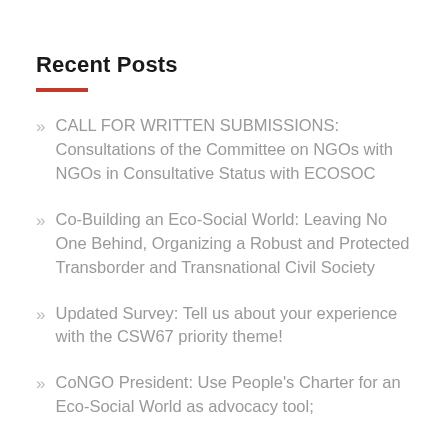Recent Posts
CALL FOR WRITTEN SUBMISSIONS: Consultations of the Committee on NGOs with NGOs in Consultative Status with ECOSOC
Co-Building an Eco-Social World: Leaving No One Behind, Organizing a Robust and Protected Transborder and Transnational Civil Society
Updated Survey: Tell us about your experience with the CSW67 priority theme!
CoNGO President: Use People's Charter for an Eco-Social World as advocacy tool;